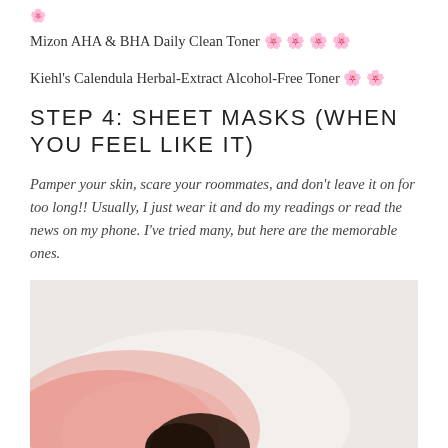Mizon AHA & BHA Daily Clean Toner 🌸🌸🌸🌸
Kiehl's Calendula Herbal-Extract Alcohol-Free Toner 🌸🌸
STEP 4: SHEET MASKS (WHEN YOU FEEL LIKE IT)
Pamper your skin, scare your roommates, and don't leave it on for too long!! Usually, I just wear it and do my readings or read the news on my phone. I've tried many, but here are the memorable ones.
[Figure (photo): Photo of a person wearing a pink sheet mask, with dark hair visible, against a light neutral background.]